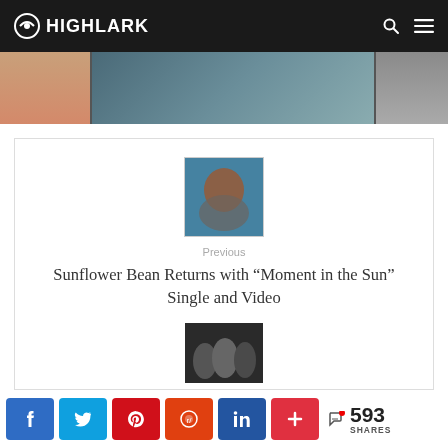HIGHLARK
[Figure (photo): Partial banner with three image sections: skin/peach on left, dark patterned fabric center, grey/white cloth on right]
[Figure (photo): Thumbnail of woman with red/orange hair against a blue background, album-style cover art]
Previous
Sunflower Bean Returns with “Moment in the Sun” Single and Video
[Figure (photo): Thumbnail of group of people in dark tones at bottom of content area]